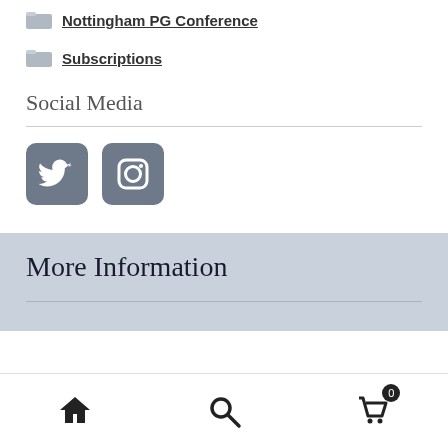Nottingham PG Conference
Subscriptions
Social Media
[Figure (illustration): Twitter and Instagram social media icon buttons, dark gray rounded square icons]
More Information
Home, Search, Cart (0) navigation bar